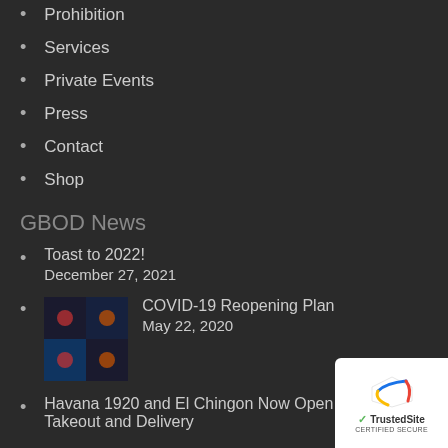Prohibition
Services
Private Events
Press
Contact
Shop
GBOD News
Toast to 2022!
December 27, 2021
COVID-19 Reopening Plan
May 22, 2020
Havana 1920 and El Chingon Now Open for Takeout and Delivery
[Figure (photo): Thumbnail image for COVID-19 Reopening Plan article]
[Figure (logo): TrustedSite Certified Secure badge]